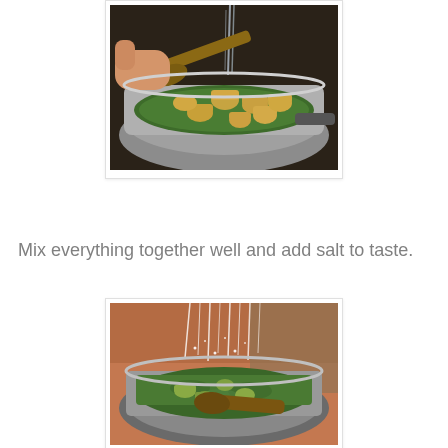[Figure (photo): A stainless steel pan with chopped green herbs (parsley) and baby corn pieces, with water being poured in and a wooden spoon/spatula visible. A hand holds the pan.]
Mix everything together well and add salt to taste.
[Figure (photo): A stainless steel pan with chopped green herbs and baby corn pieces being stirred with a wooden spoon, with salt or seasoning being sprinkled/poured from above.]